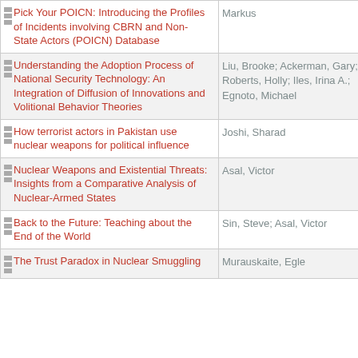| Title | Author(s) |
| --- | --- |
| Pick Your POICN: Introducing the Profiles of Incidents involving CBRN and Non-State Actors (POICN) Database | Markus |
| Understanding the Adoption Process of National Security Technology: An Integration of Diffusion of Innovations and Volitional Behavior Theories | Liu, Brooke; Ackerman, Gary; Roberts, Holly; Iles, Irina A.; Egnoto, Michael |
| How terrorist actors in Pakistan use nuclear weapons for political influence | Joshi, Sharad |
| Nuclear Weapons and Existential Threats: Insights from a Comparative Analysis of Nuclear-Armed States | Asal, Victor |
| Back to the Future: Teaching about the End of the World | Sin, Steve; Asal, Victor |
| The Trust Paradox in Nuclear Smuggling | Murauskaite, Egle |